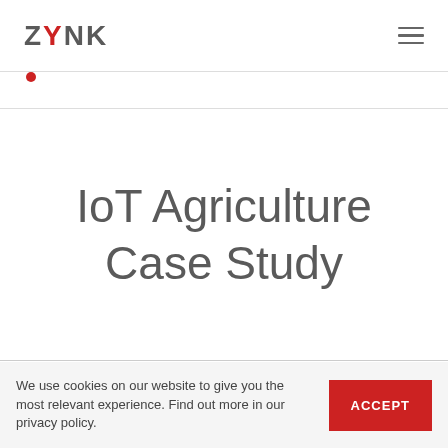ZYNK
IoT Agriculture Case Study
We use cookies on our website to give you the most relevant experience. Find out more in our privacy policy.